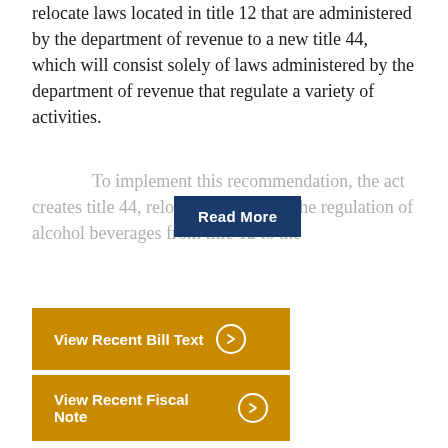relocate laws located in title 12 that are administered by the department of revenue to a new title 44, which will consist solely of laws administered by the department of revenue that regulate a variety of activities.
To implement this recommendation, the act creates title 44, relocated to the regulation of alcohol beverages from title 12 to the
Read More
View Recent Bill Text
View Recent Fiscal Note